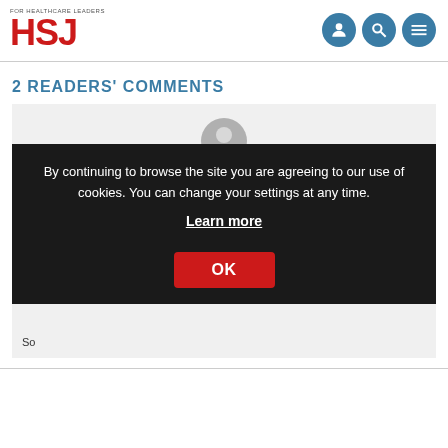HSJ — FOR HEALTHCARE LEADERS
2 READERS' COMMENTS
[Figure (screenshot): User avatar placeholder icon (gray circle with person silhouette)]
You're not signed in.
By continuing to browse the site you are agreeing to our use of cookies. You can change your settings at any time. Learn more
OK
So